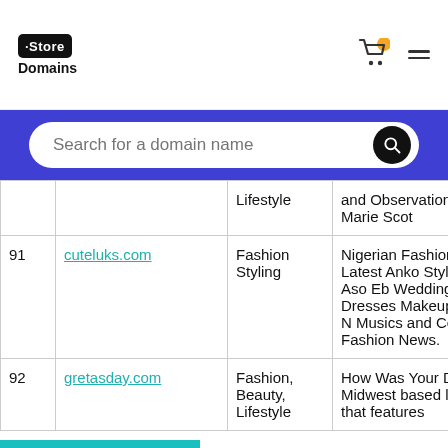.Store Domains
Search for a domain name
| # | Domain | Category | Description |
| --- | --- | --- | --- |
|  |  | Lifestyle | and Observations Laura Marie Scot |
| 91 | cuteluks.com | Fashion Styling | Nigerian Fashion 2020 Latest Anko Styles and Aso Eb Wedding Dresses Makeup Styles, N Musics and Celeb Fashion News. |
| 92 | gretasday.com | Fashion, Beauty, Lifestyle | How Was Your Do Midwest based lif blog that features |